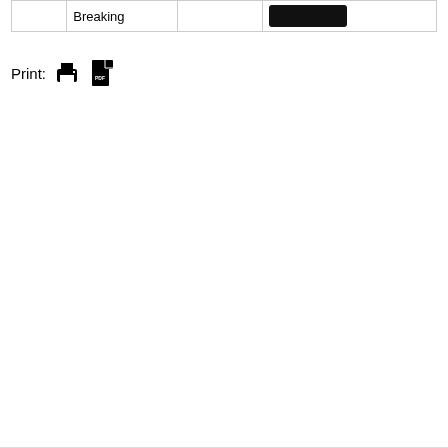|  | Breaking |  |  |
| --- | --- | --- | --- |
|  | Breaking |  |  |
Print: